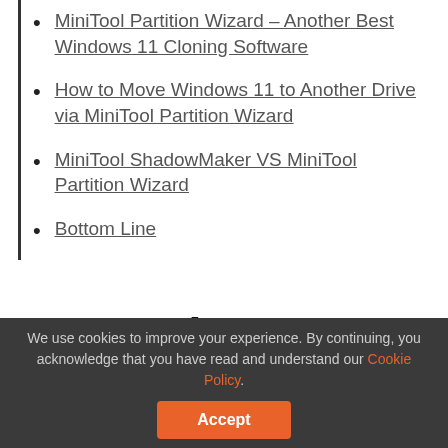MiniTool Partition Wizard – Another Best Windows 11 Cloning Software
How to Move Windows 11 to Another Drive via MiniTool Partition Wizard
MiniTool ShadowMaker VS MiniTool Partition Wizard
Bottom Line
Necessity: Windows 11 Clone Hard Drive
We use cookies to improve your experience. By continuing, you acknowledge that you have read and understand our Cookie Policy. Accept